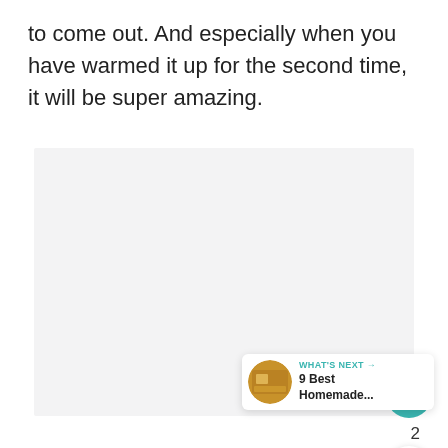to come out. And especially when you have warmed it up for the second time, it will be super amazing.
[Figure (photo): Large light gray placeholder image area]
[Figure (infographic): UI overlay: teal heart/like button, count of 2, share button, and a 'What's Next' card showing '9 Best Homemade...' with a thumbnail]